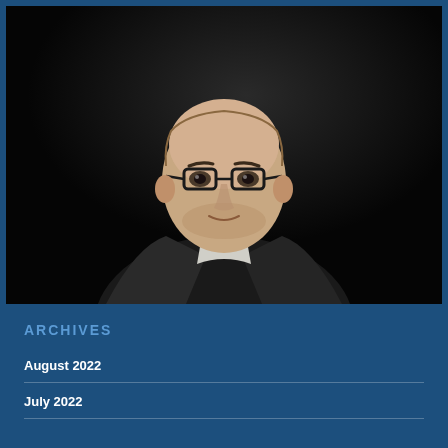[Figure (photo): Professional headshot of a middle-aged bald man with glasses, wearing a dark blazer over a white shirt, photographed against a dark background with dramatic lighting]
ARCHIVES
August 2022
July 2022